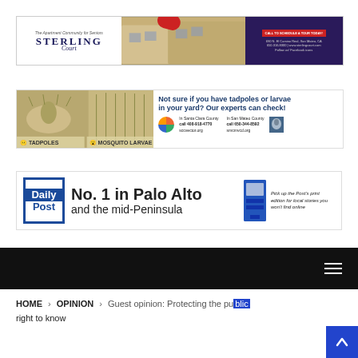[Figure (advertisement): Sterling Court apartment community for seniors advertisement with logo, building photo, and contact information]
[Figure (advertisement): Mosquito/tadpole detection public health advertisement for Santa Clara and San Mateo counties]
[Figure (advertisement): Daily Post newspaper advertisement - No. 1 in Palo Alto and the mid-Peninsula]
Navigation bar with hamburger menu
HOME > OPINION > Guest opinion: Protecting the public right to know